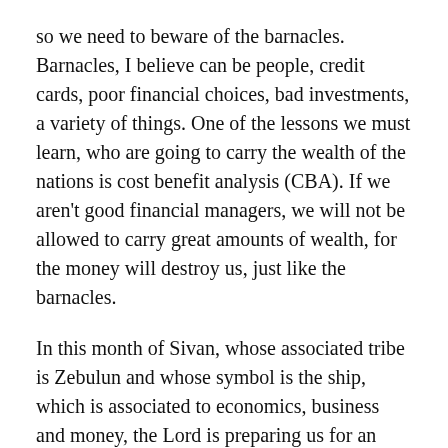so we need to beware of the barnacles. Barnacles, I believe can be people, credit cards, poor financial choices, bad investments, a variety of things. One of the lessons we must learn, who are going to carry the wealth of the nations is cost benefit analysis (CBA). If we aren't good financial managers, we will not be allowed to carry great amounts of wealth, for the money will destroy us, just like the barnacles.
In this month of Sivan, whose associated tribe is Zebulun and whose symbol is the ship, which is associated to economics, business and money, the Lord is preparing us for an increase, by warning us of some maritime issues, which are very practical and prophetic simultaneously. The Lord delights in the prosperity of His children (Psalm 35:27), that is why He prepares us in so many ways before He releases to us what He wants